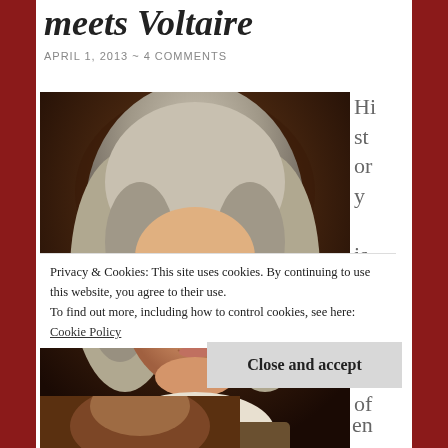meets Voltaire
APRIL 1, 2013 ~ 4 COMMENTS
[Figure (photo): Portrait painting of Voltaire, showing a man with long curly gray wig, smiling slightly, wearing 18th century clothing with white ruffled collar]
History is full of
Privacy & Cookies: This site uses cookies. By continuing to use this website, you agree to their use.
To find out more, including how to control cookies, see here: Cookie Policy
Close and accept
[Figure (photo): Bottom portion of another portrait painting, partially visible]
en